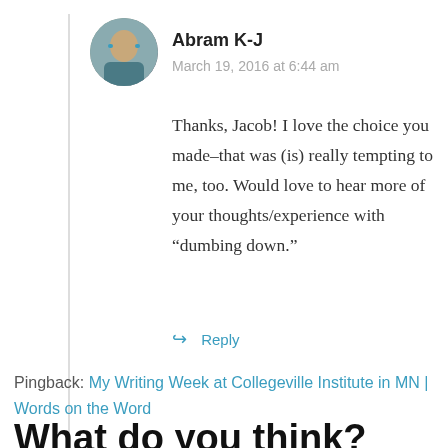Abram K-J
March 19, 2016 at 6:44 am
Thanks, Jacob! I love the choice you made–that was (is) really tempting to me, too. Would love to hear more of your thoughts/experience with “dumbing down.”
↳ Reply
Pingback:  My Writing Week at Collegeville Institute in MN | Words on the Word
What do you think?